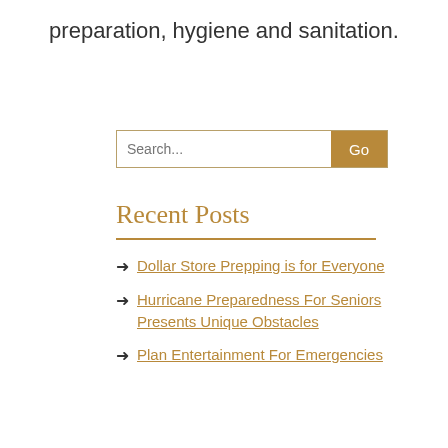preparation, hygiene and sanitation.
Search...
Recent Posts
Dollar Store Prepping is for Everyone
Hurricane Preparedness For Seniors Presents Unique Obstacles
Plan Entertainment For Emergencies